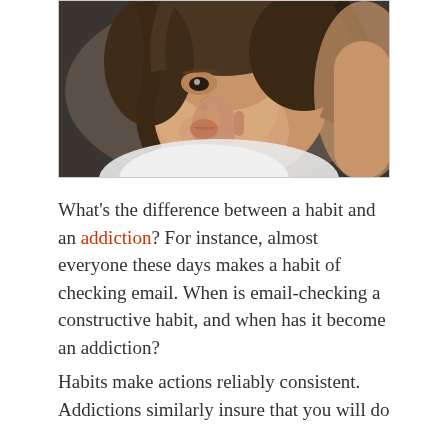[Figure (photo): A toddler girl with curly brown hair sucking her fingers/thumb, wearing a white top, photographed in close-up with a soft blurred background.]
What's the difference between a habit and an addiction? For instance, almost everyone these days makes a habit of checking email. When is email-checking a constructive habit, and when has it become an addiction?
Habits make actions reliably consistent. Addictions similarly insure that you will do